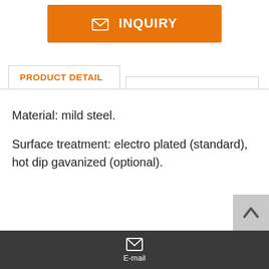[Figure (other): Orange INQUIRY button with envelope icon]
PRODUCT DETAIL
Material: mild steel.
Surface treatment: electro plated (standard), hot dip gavanized (optional).
[Figure (other): Back to top arrow button (grey)]
E-mail